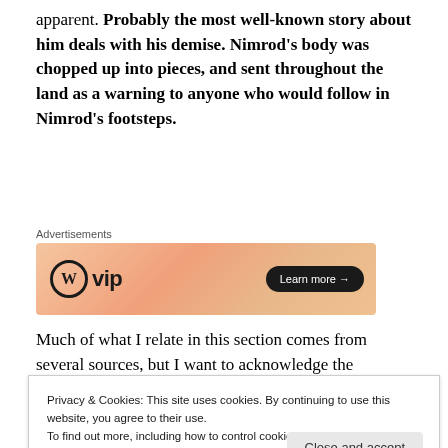apparent. Probably the most well-known story about him deals with his demise. Nimrod's body was chopped up into pieces, and sent throughout the land as a warning to anyone who would follow in Nimrod's footsteps.
[Figure (other): WordPress VIP advertisement banner with gradient orange/peach background showing WordPress logo and 'Learn more →' button]
Much of what I relate in this section comes from several sources, but I want to acknowledge the incredible work of
Privacy & Cookies: This site uses cookies. By continuing to use this website, you agree to their use. To find out more, including how to control cookies, see here: Cookie Policy
following subject. I have rewritten[1] those parts of The